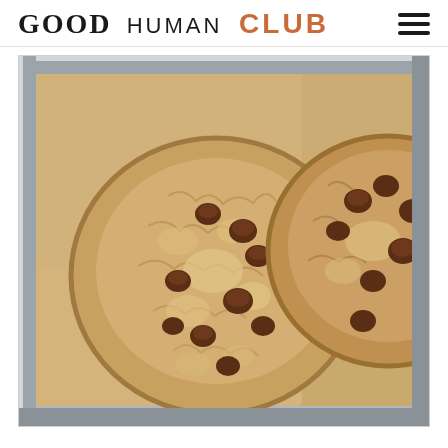GOOD HUMAN CLUB
[Figure (photo): Two large chocolate chip cookies on parchment paper on a metal baking sheet, photographed from above at a slight angle. The cookies are golden-brown with crackled surfaces and visible chocolate chips.]